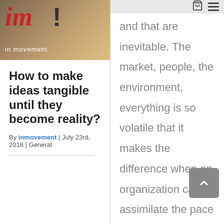[Figure (photo): Logo image of 'im! in movement' website with spices/ginger food photography background. Red italic 'im' letters with dark exclamation mark, subtitle 'in movement' in white.]
How to make ideas tangible until they become reality?
By inmovement | July 23rd, 2018 | General
and that are inevitable. The market, people, the environment, everything is so volatile that it makes the difference when an organization can assimilate the pace of change and do it effectively and when not.
Read
0